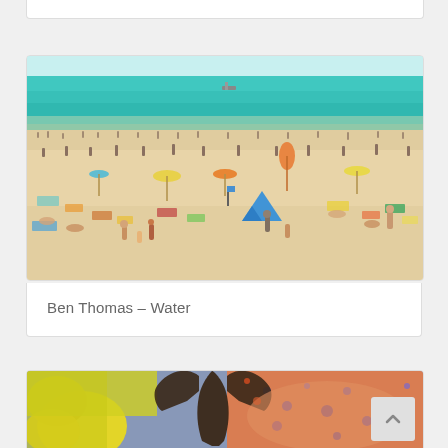[Figure (photo): Top card stub — only bottom border visible, white background card partially cropped at top of page]
[Figure (photo): Aerial/elevated view of a crowded beach with turquoise ocean water. Many beachgoers on sandy shore with colorful umbrellas, towels, and a blue tent in the center foreground. Sky is light blue with hazy horizon.]
Ben Thomas – Water
[Figure (photo): Partially visible card at bottom of page showing a colorful artistic/fashion photo with bright yellows, oranges, blues, and a dark-skinned person's arms raised. Large yellow flower shape on left side.]